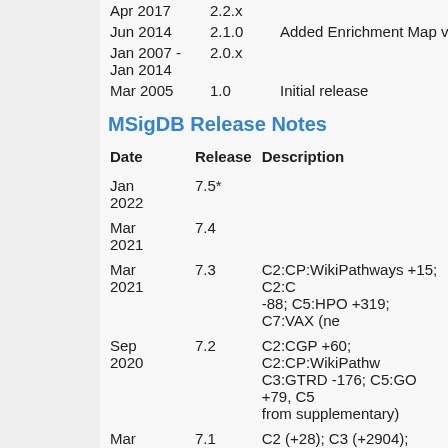| Date | Release | Description |
| --- | --- | --- |
| Apr 2017 | 2.2.x |  |
| Jun 2014 | 2.1.0 | Added Enrichment Map visu |
| Jan 2007 - Jan 2014 | 2.0.x |  |
| Mar 2005 | 1.0 | Initial release |
MSigDB Release Notes
| Date | Release | Description |
| --- | --- | --- |
| Jan 2022 | 7.5* |  |
| Mar 2021 | 7.4 |  |
| Mar 2021 | 7.3 | C2:CP:WikiPathways +15; C2:C -88; C5:HPO +319; C7:VAX (ne |
| Sep 2020 | 7.2 | C2:CGP +60; C2:CP:WikiPathw C3:GTRD -176; C5:GO +79, C5 from supplementary) |
| Mar 2020 | 7.1 | C2 (+28); C3 (+2904); C5(+196 |
| Aug 2019 | 7.0 | C1 (-27); C2 (+738); C5 (+4079 |